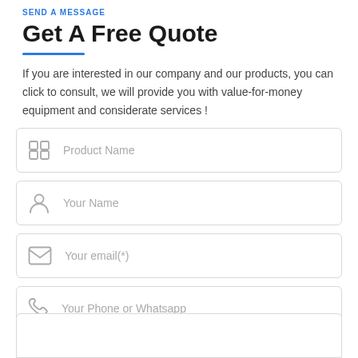SEND A MESSAGE
Get A Free Quote
If you are interested in our company and our products, you can click to consult, we will provide you with value-for-money equipment and considerate services !
[Figure (infographic): Form with four fields: Product Name (with grid/apps icon), Your Name (with person icon), Your email(*) (with envelope icon), Your Phone or Whatsapp (with phone icon)]